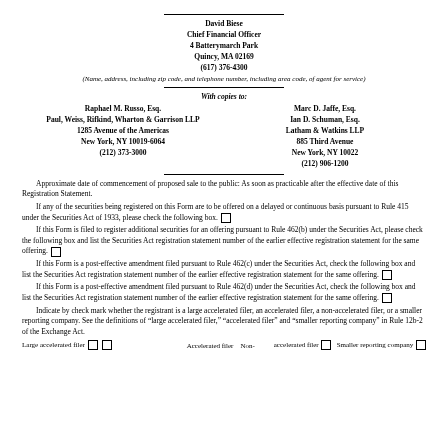David Biese
Chief Financial Officer
4 Batterymarch Park
Quincy, MA 02169
(617) 376-4300
(Name, address, including zip code, and telephone number, including area code, of agent for service)
With copies to:
Raphael M. Russo, Esq.
Paul, Weiss, Rifkind, Wharton & Garrison LLP
1285 Avenue of the Americas
New York, NY 10019-6064
(212) 373-3000
Marc D. Jaffe, Esq.
Ian D. Schuman, Esq.
Latham & Watkins LLP
885 Third Avenue
New York, NY 10022
(212) 906-1200
Approximate date of commencement of proposed sale to the public: As soon as practicable after the effective date of this Registration Statement.
If any of the securities being registered on this Form are to be offered on a delayed or continuous basis pursuant to Rule 415 under the Securities Act of 1933, please check the following box.
If this Form is filed to register additional securities for an offering pursuant to Rule 462(b) under the Securities Act, please check the following box and list the Securities Act registration statement number of the earlier effective registration statement for the same offering.
If this Form is a post-effective amendment filed pursuant to Rule 462(c) under the Securities Act, check the following box and list the Securities Act registration statement number of the earlier effective registration statement for the same offering.
If this Form is a post-effective amendment filed pursuant to Rule 462(d) under the Securities Act, check the following box and list the Securities Act registration statement number of the earlier effective registration statement for the same offering.
Indicate by check mark whether the registrant is a large accelerated filer, an accelerated filer, a non-accelerated filer, or a smaller reporting company. See the definitions of "large accelerated filer," "accelerated filer" and "smaller reporting company" in Rule 12b-2 of the Exchange Act.
Large accelerated filer □ □   Accelerated filer   Non-accelerated filer □   Smaller reporting company □